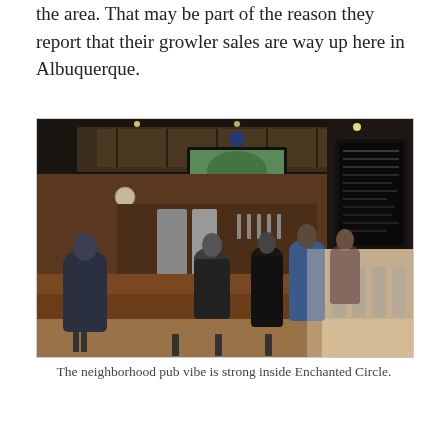the area. That may be part of the reason they report that their growler sales are way up here in Albuquerque.
[Figure (photo): Interior of Enchanted Circle bar/pub showing patrons seated at a wooden bar counter with bar stools, a large TV screen mounted behind the bar, a menu board on the right wall, and rustic wooden ceiling panels. The atmosphere is warm and dimly lit with natural light coming from the right side.]
The neighborhood pub vibe is strong inside Enchanted Circle.